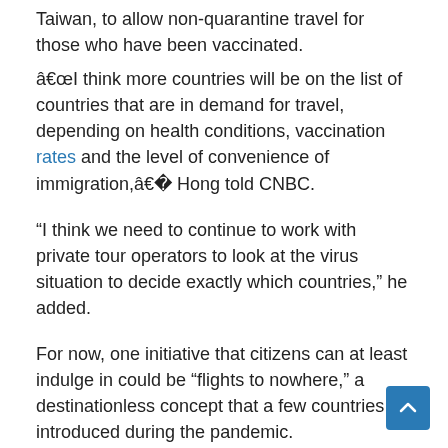Taiwan, to allow non-quarantine travel for those who have been vaccinated.
“I think more countries will be on the list of countries that are in demand for travel, depending on health conditions, vaccination rates and the level of convenience of immigration,” Hong told CNBC.
“I think we need to continue to work with private tour operators to look at the virus situation to decide exactly which countries,” he added.
For now, one initiative that citizens can at least indulge in could be “flights to nowhere,” a destinationless concept that a few countries introduced during the pandemic.
“Even though you can’t go overseas, there were flights offered without landing,” Hong said. “Passengers could fly to Japan, hover over the Japanese sky and then come back without landing. A lot of people have shown interest in this and it has been used a lot,” he said, referring to to such flights which were